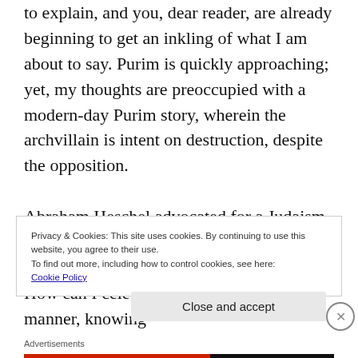to explain, and you, dear reader, are already beginning to get an inkling of what I am about to say. Purim is quickly approaching; yet, my thoughts are preoccupied with a modern-day Purim story, wherein the archvillain is intent on destruction, despite the opposition.
Abraham Heschel advocated for a Judaism that is not wrapped up in its past glory, in spite of the prevailing circumstances of life. How can I celebrate Purim in a joyous manner, knowing
Privacy & Cookies: This site uses cookies. By continuing to use this website, you agree to their use.
To find out more, including how to control cookies, see here:
Cookie Policy
Close and accept
Advertisements